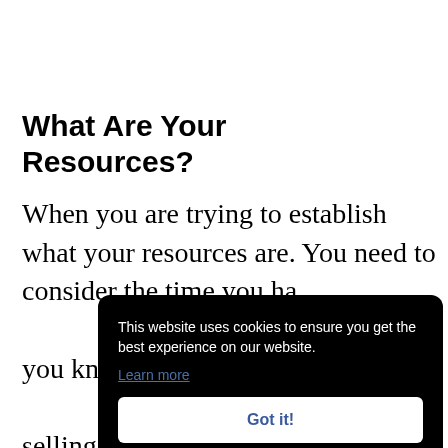What Are Your Resources?
When you are trying to establish what your resources are. You need to consider the time you ha[ve] you kn[ow] selling marke[t] sugges[t you find the very specific audience
This website uses cookies to ensure you get the best experience on our website.
Learn more
Got it!